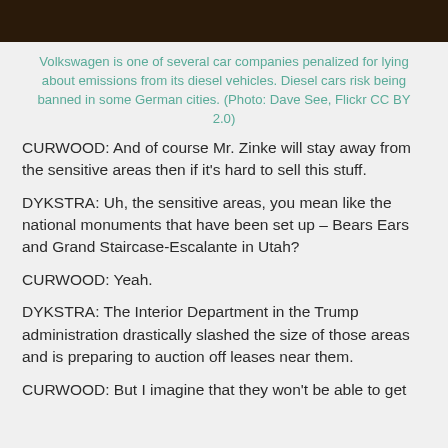[Figure (photo): Dark brown/black photo strip at top of page, likely a cropped image of a Volkswagen or dark automotive scene]
Volkswagen is one of several car companies penalized for lying about emissions from its diesel vehicles. Diesel cars risk being banned in some German cities. (Photo: Dave See, Flickr CC BY 2.0)
CURWOOD: And of course Mr. Zinke will stay away from the sensitive areas then if it's hard to sell this stuff.
DYKSTRA: Uh, the sensitive areas, you mean like the national monuments that have been set up – Bears Ears and Grand Staircase-Escalante in Utah?
CURWOOD: Yeah.
DYKSTRA: The Interior Department in the Trump administration drastically slashed the size of those areas and is preparing to auction off leases near them.
CURWOOD: But I imagine that they won't be able to get